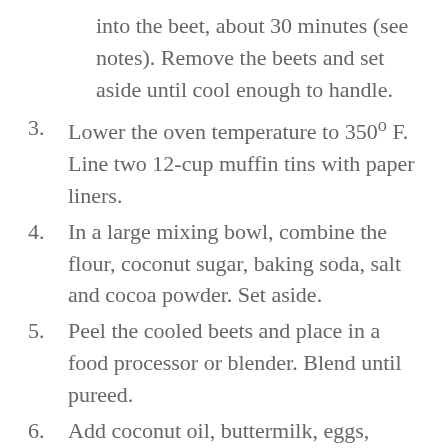into the beet, about 30 minutes (see notes). Remove the beets and set aside until cool enough to handle.
3. Lower the oven temperature to 350° F. Line two 12-cup muffin tins with paper liners.
4. In a large mixing bowl, combine the flour, coconut sugar, baking soda, salt and cocoa powder. Set aside.
5. Peel the cooled beets and place in a food processor or blender. Blend until pureed.
6. Add coconut oil, buttermilk, eggs, vinegar and vanilla to the beet puree and blend. In two parts, mix the wet ingredients into the